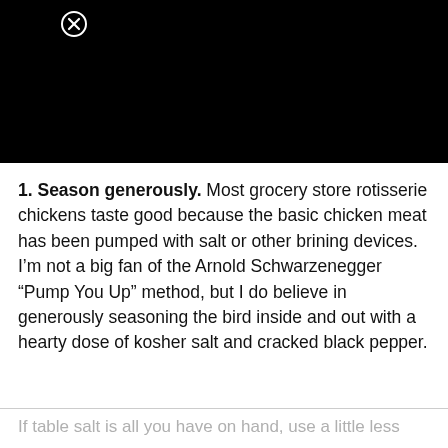[Figure (other): Black header/video area with a close (X) button icon in the upper left]
1. Season generously. Most grocery store rotisserie chickens taste good because the basic chicken meat has been pumped with salt or other brining devices. I’m not a big fan of the Arnold Schwarzenegger “Pump You Up” method, but I do believe in generously seasoning the bird inside and out with a hearty dose of kosher salt and cracked black pepper.
If table salt is all you have on hand, use a little less